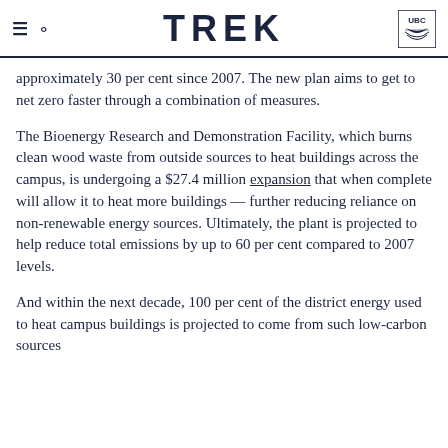TREK
approximately 30 per cent since 2007. The new plan aims to get to net zero faster through a combination of measures.
The Bioenergy Research and Demonstration Facility, which burns clean wood waste from outside sources to heat buildings across the campus, is undergoing a $27.4 million expansion that when complete will allow it to heat more buildings — further reducing reliance on non-renewable energy sources. Ultimately, the plant is projected to help reduce total emissions by up to 60 per cent compared to 2007 levels.
And within the next decade, 100 per cent of the district energy used to heat campus buildings is projected to come from such low-carbon sources